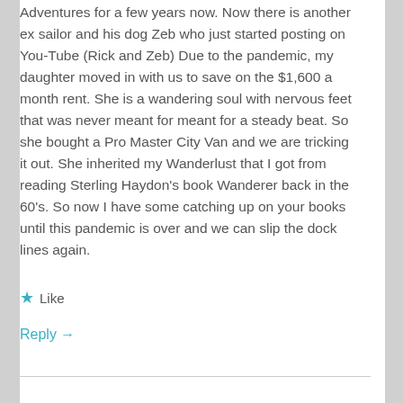Adventures for a few years now. Now there is another ex sailor and his dog Zeb who just started posting on You-Tube (Rick and Zeb) Due to the pandemic, my daughter moved in with us to save on the $1,600 a month rent. She is a wandering soul with nervous feet that was never meant for meant for a steady beat. So she bought a Pro Master City Van and we are tricking it out. She inherited my Wanderlust that I got from reading Sterling Haydon's book Wanderer back in the 60's. So now I have some catching up on your books until this pandemic is over and we can slip the dock lines again.
Like
Reply →